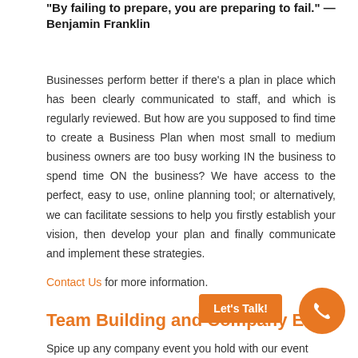"By failing to prepare, you are preparing to fail." — Benjamin Franklin
Businesses perform better if there's a plan in place which has been clearly communicated to staff, and which is regularly reviewed. But how are you supposed to find time to create a Business Plan when most small to medium business owners are too busy working IN the business to spend time ON the business? We have access to the perfect, easy to use, online planning tool; or alternatively, we can facilitate sessions to help you firstly establish your vision, then develop your plan and finally communicate and implement these strategies.
Contact Us for more information.
Team Building and Company E...
Spice up any company event you hold with our event